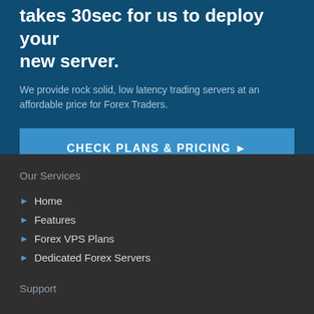takes 30sec for us to deploy your new server.
We provide rock solid, low latency trading servers at an affordable price for Forex Traders.
CHECK PLANS & PRICING ▶
Our Services
Home
Features
Forex VPS Plans
Dedicated Forex Servers
Support